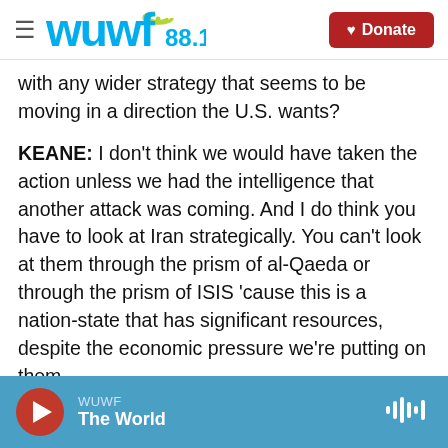WUWF 88.1 | Donate
with any wider strategy that seems to be moving in a direction the U.S. wants?
KEANE: I don't think we would have taken the action unless we had the intelligence that another attack was coming. And I do think you have to look at Iran strategically. You can't look at them through the prism of al-Qaeda or through the prism of ISIS 'cause this is a nation-state that has significant resources, despite the economic pressure we're putting on them.
INSKEEP: Yeah.
WUWF | The World